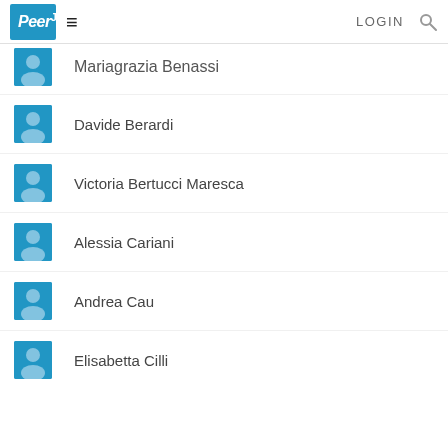PeerJ LOGIN
Mariagrazia Benassi
Davide Berardi
Victoria Bertucci Maresca
Alessia Cariani
Andrea Cau
Elisabetta Cilli